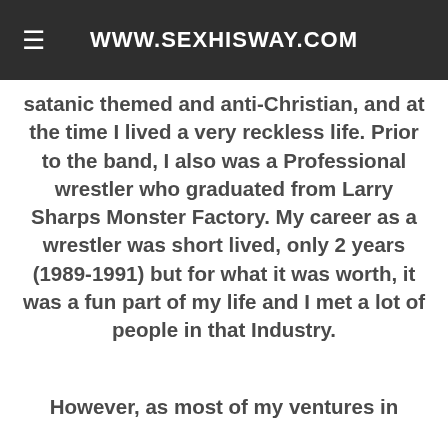WWW.SEXHISWAY.COM
satanic themed and anti-Christian, and at the time I lived a very reckless life. Prior to the band, I also was a Professional wrestler who graduated from Larry Sharps Monster Factory. My career as a wrestler was short lived, only 2 years (1989-1991) but for what it was worth, it was a fun part of my life and I met a lot of people in that Industry.
However, as most of my ventures in